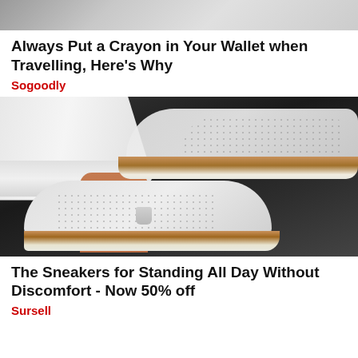[Figure (photo): Cropped photo of a person, partial body visible at top, neutral background]
Always Put a Crayon in Your Wallet when Travelling, Here's Why
Sogoodly
[Figure (photo): Close-up photo of white slip-on sneakers with perforated upper and tan/beige sole with decorative stitching, worn by a person with white jeans, on a dark pavement background]
The Sneakers for Standing All Day Without Discomfort - Now 50% off
Sursell